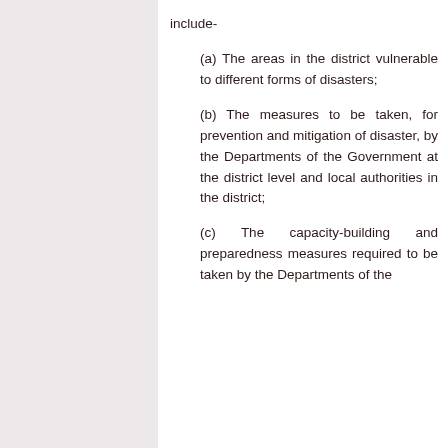include-
(a) The areas in the district vulnerable to different forms of disasters;
(b) The measures to be taken, for prevention and mitigation of disaster, by the Departments of the Government at the district level and local authorities in the district;
(c) The capacity-building and preparedness measures required to be taken by the Departments of the